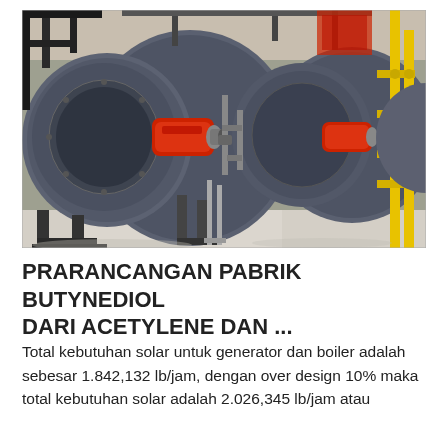[Figure (photo): Industrial boiler room showing large cylindrical fire-tube boilers with red burner heads mounted on the front faces, metal frames and piping, yellow vertical pipes on the right side, and a concrete floor inside a warehouse-like facility.]
PRARANCANGAN PABRIK BUTYNEDIOL DARI ACETYLENE DAN ...
Total kebutuhan solar untuk generator dan boiler adalah sebesar 1.842,132 lb/jam, dengan over design 10% maka total kebutuhan solar adalah 2.026,345 lb/jam atau